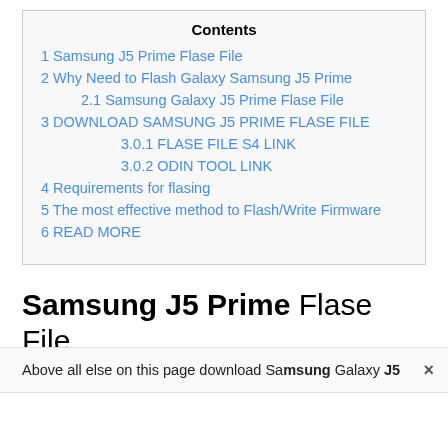Contents
1 Samsung J5 Prime Flase File
2 Why Need to Flash Galaxy Samsung J5 Prime
2.1 Samsung Galaxy J5 Prime Flase File
3 DOWNLOAD SAMSUNG J5 PRIME FLASE FILE
3.0.1 FLASE FILE S4 LINK
3.0.2 ODIN TOOL LINK
4 Requirements for flasing
5 The most effective method to Flash/Write Firmware
6 READ MORE
Samsung J5 Prime Flase File
Above all else on this page download Samsung Galaxy J5